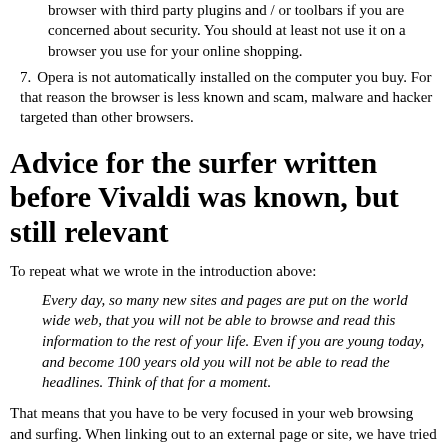browser with third party plugins and / or toolbars if you are concerned about security. You should at least not use it on a browser you use for your online shopping.
7. Opera is not automatically installed on the computer you buy. For that reason the browser is less known and scam, malware and hacker targeted than other browsers.
Advice for the surfer written before Vivaldi was known, but still relevant
To repeat what we wrote in the introduction above:
Every day, so many new sites and pages are put on the world wide web, that you will not be able to browse and read this information to the rest of your life. Even if you are young today, and become 100 years old you will not be able to read the headlines. Think of that for a moment.
That means that you have to be very focused in your web browsing and surfing. When linking out to an external page or site, we have tried to avoid sites with bad behavior (in professional language, bad